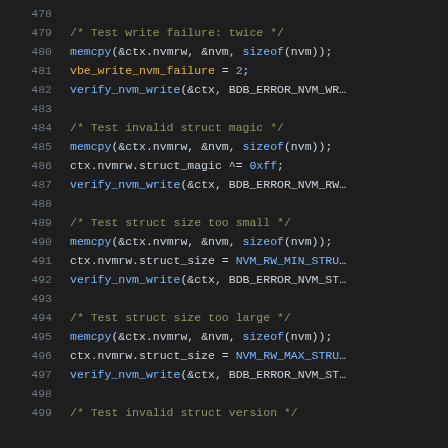[Figure (screenshot): Source code listing showing C code lines 478-499 with syntax highlighting on a dark background. Comments in olive/yellow, function names in blue, variables in gold, keywords/macros in red/blue.]